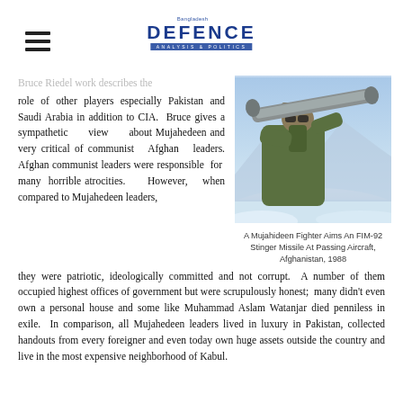DEFENCE
Bruce Riedel work describes the role of other players especially Pakistan and Saudi Arabia in addition to CIA. Bruce gives a sympathetic view about Mujahedeen and very critical of communist Afghan leaders. Afghan communist leaders were responsible for many horrible atrocities. However, when compared to Mujahedeen leaders, they were patriotic, ideologically committed and not corrupt. A number of them occupied highest offices of government but were scrupulously honest; many didn't even own a personal house and some like Muhammad Aslam Watanjar died penniless in exile. In comparison, all Mujahedeen leaders lived in luxury in Pakistan, collected handouts from every foreigner and even today own huge assets outside the country and live in the most expensive neighborhood of Kabul.
[Figure (photo): A Mujahideen fighter aiming an FIM-92 Stinger missile launcher at the sky, Afghanistan 1988. Snowy mountain landscape in background.]
A Mujahideen Fighter Aims An FIM-92 Stinger Missile At Passing Aircraft, Afghanistan, 1988